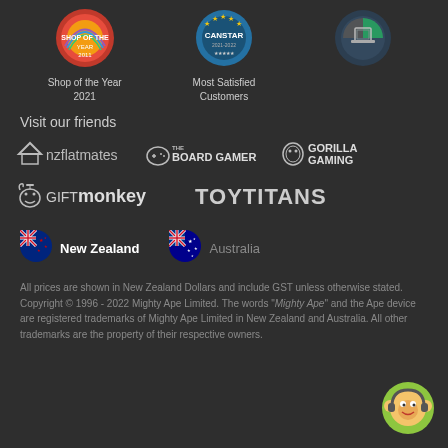[Figure (logo): Shop of the Year 2021 badge (circular, rainbow colors)]
Shop of the Year
2021
[Figure (logo): Canstar Most Satisfied Customers badge (blue circular)]
Most Satisfied
Customers
[Figure (logo): Third award badge (circular, green/dark)]
Visit our friends
[Figure (logo): nzflatmates logo]
[Figure (logo): The Board Gamer logo]
[Figure (logo): Gorilla Gaming logo]
[Figure (logo): GIFTmonkey logo]
[Figure (logo): TOYTITANS logo]
[Figure (logo): New Zealand flag emoji]
New Zealand
[Figure (logo): Australia flag emoji]
Australia
All prices are shown in New Zealand Dollars and include GST unless otherwise stated. Copyright © 1996 - 2022 Mighty Ape Limited. The words "Mighty Ape" and the Ape device are registered trademarks of Mighty Ape Limited in New Zealand and Australia. All other trademarks are the property of their respective owners.
[Figure (illustration): Monkey customer service chat icon (green circle, cartoon monkey with headset)]